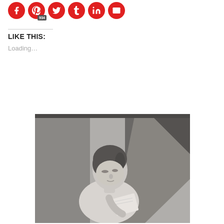[Figure (other): Row of social media sharing icons: Facebook (red circle), Pinterest (red circle with 934 badge), Twitter (red circle), Tumblr (red circle), LinkedIn (red circle), Email (red circle)]
LIKE THIS:
Loading...
[Figure (photo): Black and white painting or drawing of a young person with short dark hair, looking downward, holding papers or a book, with angular geometric shapes in the background.]